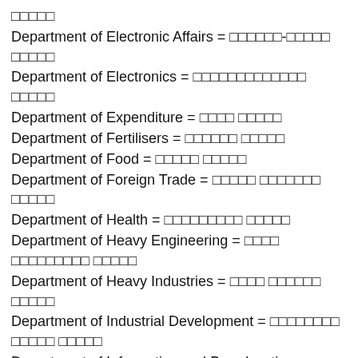□□□□□
Department of Electronic Affairs = □□□□□□-□□□□□ □□□□□
Department of Electronics = □□□□□□□□□□□□□ □□□□□
Department of Expenditure = □□□□ □□□□□
Department of Fertilisers = □□□□□□ □□□□□
Department of Food = □□□□□ □□□□□
Department of Foreign Trade = □□□□□ □□□□□□□ □□□□□
Department of Health = □□□□□□□□□ □□□□□
Department of Heavy Engineering = □□□□ □□□□□□□□□ □□□□□
Department of Heavy Industries = □□□□ □□□□□□ □□□□□
Department of Industrial Development = □□□□□□□□ □□□□□ □□□□□
Department of Information and Broadcasting